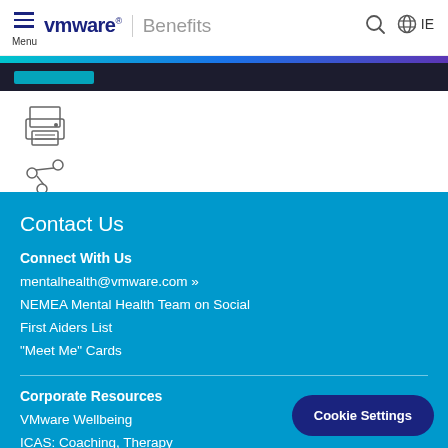VMware Benefits — Menu, IE
[Figure (screenshot): Dark navigation strip with teal highlight below the gradient bar]
[Figure (illustration): Printer icon and share/network icon in outline style]
Contact Us
Connect With Us
mentalhealth@vmware.com »
NEMEA Mental Health Team on Social
First Aiders List
"Meet Me" Cards
Corporate Resources
VMware Wellbeing
ICAS: Coaching, Therapy
Services
Cookie Settings